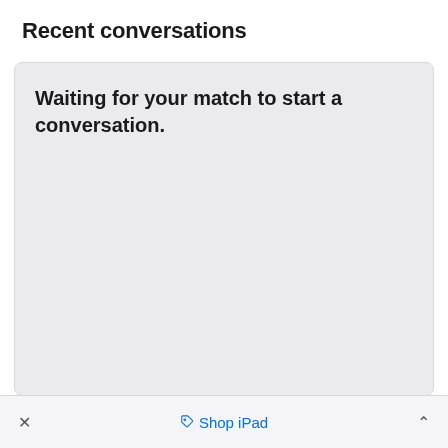Recent conversations
Waiting for your match to start a conversation.
× Shop iPad ^